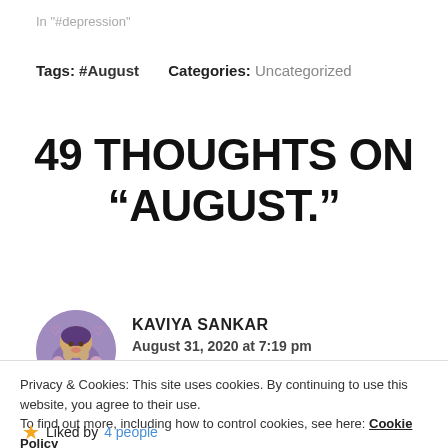In "#depression"
Tags: #August    Categories: Uncategorized
49 THOUGHTS ON “AUGUST.”
KAVIYA SANKAR
August 31, 2020 at 7:19 pm
Privacy & Cookies: This site uses cookies. By continuing to use this website, you agree to their use.
To find out more, including how to control cookies, see here: Cookie Policy
Close and accept
★ Liked by 4 people